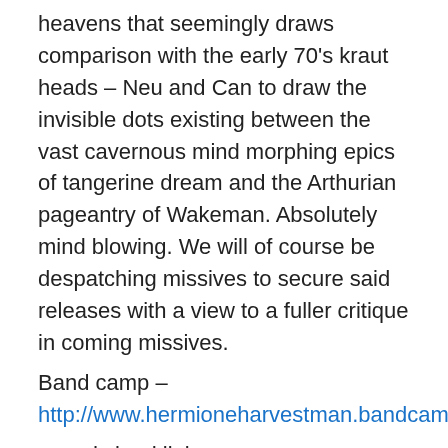heavens that seemingly draws comparison with the early 70's kraut heads – Neu and Can to draw the invisible dots existing between the vast cavernous mind morphing epics of tangerine dream and the Arthurian pageantry of Wakeman. Absolutely mind blowing. We will of course be despatching missives to secure said releases with a view to a fuller critique in coming missives.
Band camp – http://www.hermioneharvestman.bandcamp.com
sound cloud links – http://www.soundcloud.com/hermione-harvestman
While for information go to http://www.ploughmyth.blogspot.com for enlightenment, biographies and various resources.
They've already wowed these pages with that awesome Telstar Sound Drone set which we've mentioned in